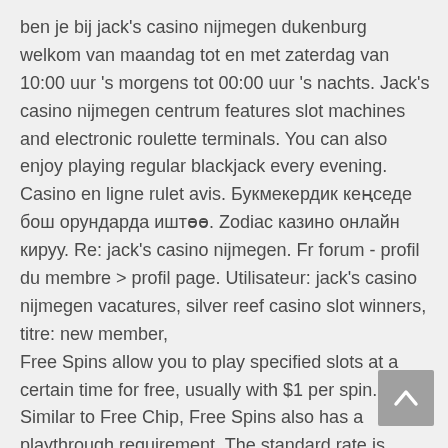ben je bij jack's casino nijmegen dukenburg welkom van maandag tot en met zaterdag van 10:00 uur 's morgens tot 00:00 uur 's nachts. Jack's casino nijmegen centrum features slot machines and electronic roulette terminals. You can also enjoy playing regular blackjack every evening. Casino en ligne rulet avis. Букмекердик кеңседе бош орундарда иштөө. Zodiac казино онлайн кируу. Re: jack's casino nijmegen. Fr forum - profil du membre &gt; profil page. Utilisateur: jack's casino nijmegen vacatures, silver reef casino slot winners, titre: new member,
Free Spins allow you to play specified slots at a certain time for free, usually with $1 per spin. Similar to Free Chip, Free Spins also has a playthrough requirement. The standard rate is usually lower than that of Free Chip, at 40 times the winning amount. This is understandable as the winning amount is